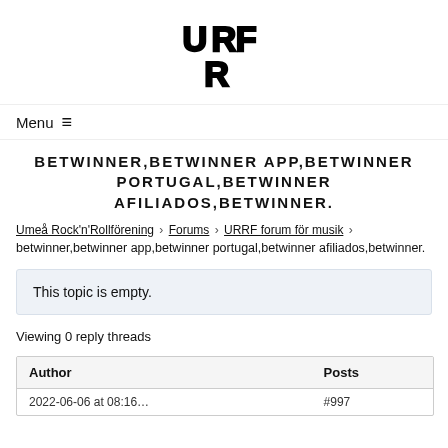[Figure (logo): URF/URRF stylized block letter logo in black]
Menu ≡
BETWINNER,BETWINNER APP,BETWINNER PORTUGAL,BETWINNER AFILIADOS,BETWINNER.
Umeå Rock'n'Rollförening › Forums › URRF forum för musik ›
betwinner,betwinner app,betwinner portugal,betwinner afiliados,betwinner.
This topic is empty.
Viewing 0 reply threads
| Author | Posts |
| --- | --- |
| 2022-06-06 at 08:16... | #997 |